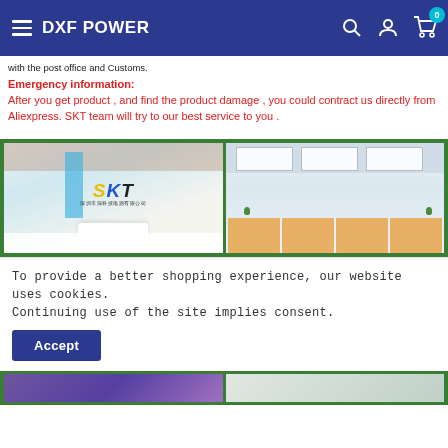DXF POWER
with the post office and Customs.
Emergency  information:
After you  get product , and find the product damage , you could contract us directly from Aliexpress. SKT team will try to our best service to you .
[Figure (photo): Two side-by-side photos inside a green-bordered frame: left shows SKT company reception with logo and white desk, right shows a modern office workspace with ceiling panels and orange desks and plants.]
To provide a better shopping experience, our website uses cookies. Continuing use of the site implies consent.
[Figure (photo): Bottom strip with two partial photos, partially visible.]